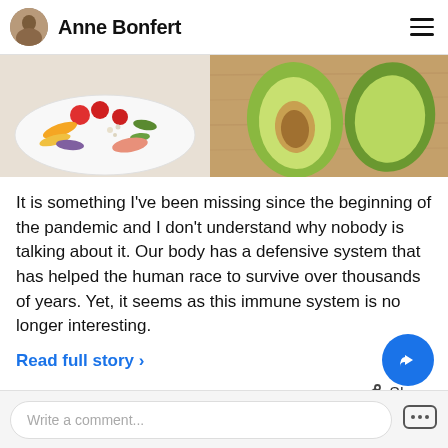Anne Bonfert
[Figure (photo): Food photo showing a colorful plate with fruits and vegetables on the left, and a halved avocado on a wooden cutting board on the right.]
It is something I've been missing since the beginning of the pandemic and I don't understand why nobody is talking about it. Our body has a defensive system that has helped the human race to survive over thousands of years. Yet, it seems as this immune system is no longer interesting.
Read full story >
Share